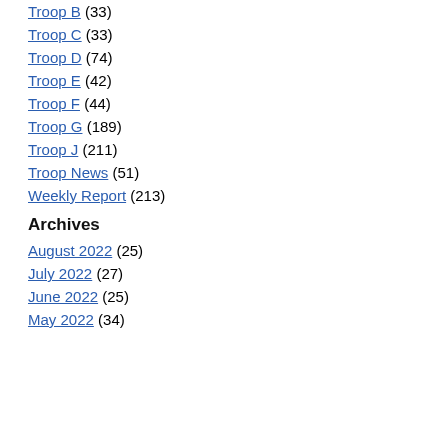Troop B (33)
Troop C (33)
Troop D (74)
Troop E (42)
Troop F (44)
Troop G (189)
Troop J (211)
Troop News (51)
Weekly Report (213)
Archives
August 2022 (25)
July 2022 (27)
June 2022 (25)
May 2022 (34)